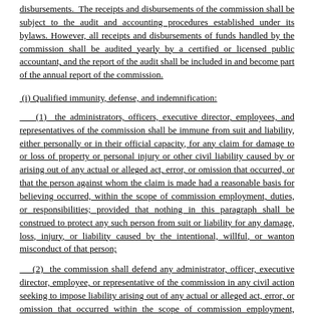disbursements. The receipts and disbursements of the commission shall be subject to the audit and accounting procedures established under its bylaws. However, all receipts and disbursements of funds handled by the commission shall be audited yearly by a certified or licensed public accountant, and the report of the audit shall be included in and become part of the annual report of the commission.
(i) Qualified immunity, defense, and indemnification:
(1) the administrators, officers, executive director, employees, and representatives of the commission shall be immune from suit and liability, either personally or in their official capacity, for any claim for damage to or loss of property or personal injury or other civil liability caused by or arising out of any actual or alleged act, error, or omission that occurred, or that the person against whom the claim is made had a reasonable basis for believing occurred, within the scope of commission employment, duties, or responsibilities; provided that nothing in this paragraph shall be construed to protect any such person from suit or liability for any damage, loss, injury, or liability caused by the intentional, willful, or wanton misconduct of that person;
(2) the commission shall defend any administrator, officer, executive director, employee, or representative of the commission in any civil action seeking to impose liability arising out of any actual or alleged act, error, or omission that occurred within the scope of commission employment, duties, or responsibilities, or that the person against whom the claim is made had a reasonable basis for believing occurred within the scope of commission employment, duties, or responsibilities; provided that nothing herein shall be construed to prohibit that person from retaining his or her own counsel; and provided further that the actual or alleged act, error, or omission did not result from that person's intentional, willful, or wanton misconduct; and
(3) the commission shall indemnify and hold harmless any administrator,